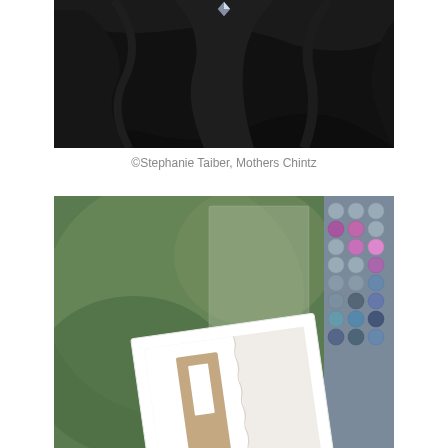[Figure (photo): Close-up photograph of black draped fabric or velvet with soft folds and a small transparent/crystal element at the top center]
©Stephanie Taiber, Mothers Chintz
[Figure (photo): Photograph showing a handmade greeting card with a heart charm on a ribbon, placed against a green bokeh background with a decorative beaded/dotted purple and pink textile]